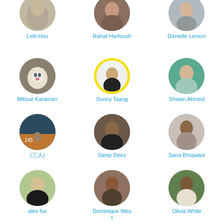[Figure (photo): Grid of circular profile photos with names in blue text. Row 1 (partially cut): Leiti Hsu, Rahaf Harfoush, Danielle Lemon. Row 2: Mitsue Karaman (cat photo), Sunny Tsang (yellow ring border), Shwan Ahmed (teal background). Row 3: (三人), Sleep Deez, Sana Bhojwani. Row 4: alex fox, Dominique West, Olivia White.]